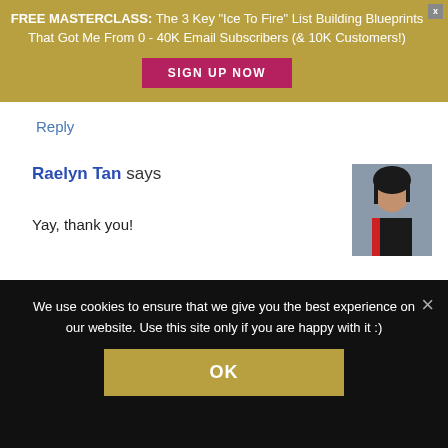[Figure (infographic): Dark gold/olive colored promotional banner with text about a Free Masterclass and a pink Sign Up Now button. Has an X close button in top right.]
Reply
Raelyn Tan says
[Figure (photo): Profile photo of Raelyn Tan, a woman with dark hair wearing a black top with red accent, in an indoor setting.]
Yay, thank you!
We use cookies to ensure that we give you the best experience on our website. Use this site only if you are happy with it :)
OK